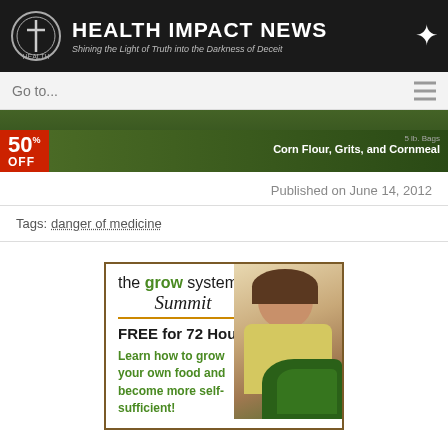HEALTH IMPACT NEWS — Shining the Light of Truth into the Darkness of Deceit
[Figure (screenshot): Navigation bar with Go to... dropdown and partially visible promotional banner showing 50% OFF Corn Flour, Grits, and Cornmeal]
Published on June 14, 2012
Tags: danger of medicine
[Figure (infographic): the grow system Summit — FREE for 72 Hours! Learn how to grow your own food and become more self-sufficient! Advertisement with woman holding vegetables.]